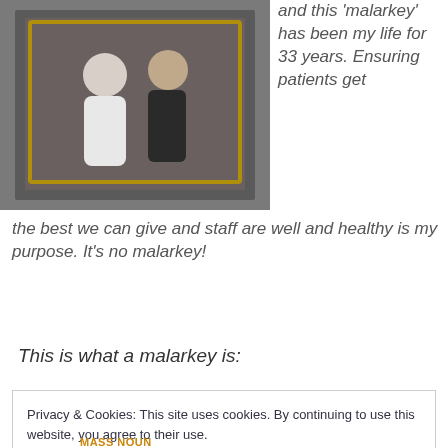[Figure (photo): A photograph showing two people, one in a white top, appearing to be in a framed or mirrored setting with dark background.]
and this 'malarkey' has been my life for 33 years. Ensuring patients get the best we can give and staff are well and healthy is my purpose. It's no malarkey!
This is what a malarkey is:
Privacy & Cookies: This site uses cookies. By continuing to use this website, you agree to their use.
To find out more, including how to control cookies, see here: Cookie Policy
MASS NOUN